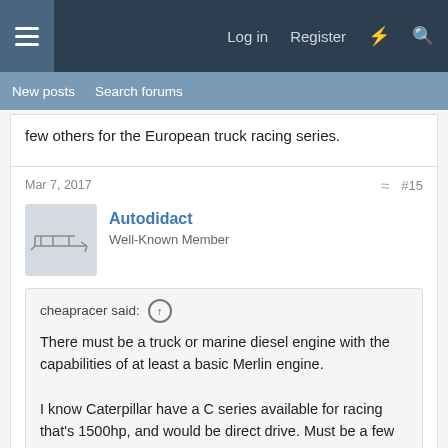Log in  Register
New posts  Search forums
few others for the European truck racing series.
Mar 7, 2017   #15
Autodidact
Well-Known Member
cheapracer said:
There must be a truck or marine diesel engine with the capabilities of at least a basic Merlin engine.

I know Caterpillar have a C series available for racing that's 1500hp, and would be direct drive. Must be a few others for the European truck racing series.
That's an interesting idea, but wouldn't they be heavy for the power? Can they make 3 to 4,000 hp? Have